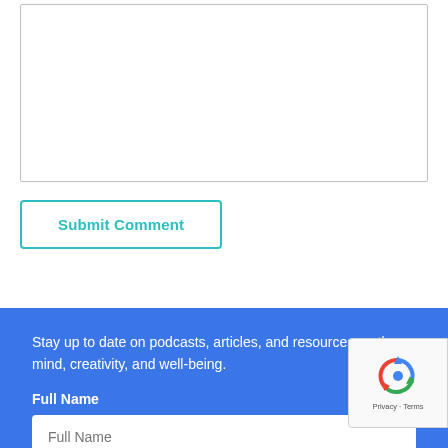[Figure (screenshot): A comment text area input box, empty, with a resize handle in the bottom-right corner.]
Submit Comment
Stay up to date on podcasts, articles, and resources on the mind, creativity, and well-being.
Full Name
[Figure (screenshot): Full Name input field with placeholder text 'Full Name' on blue background.]
[Figure (screenshot): reCAPTCHA badge overlay showing the reCAPTCHA logo and 'Privacy - Terms' text.]